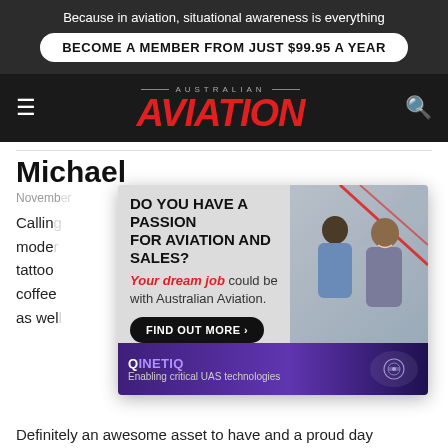Because in aviation, situational awareness is everything
BECOME A MEMBER FROM JUST $99.95 A YEAR
AUSTRALIAN AVIATION
Michael
November
Calling … your model … find a tattoo … a coffee … crew as well …
[Figure (advertisement): Australian Aviation job advertisement popup: 'DO YOU HAVE A PASSION FOR AVIATION AND SALES? Your dream job could be with Australian Aviation. FIND OUT MORE'. Bottom strip shows QinetiQ - Enabling critical UAS technologies.]
Definitely an awesome asset to have and a proud day